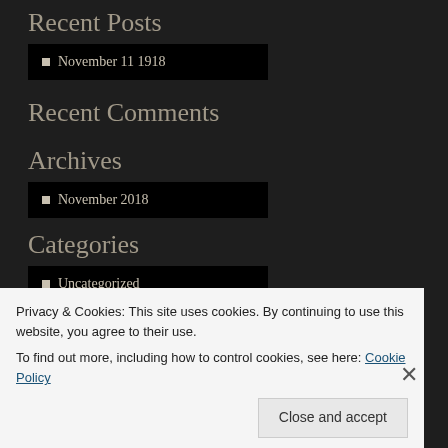Recent Posts
November 11 1918
Recent Comments
Archives
November 2018
Categories
Uncategorized
Meta
Privacy & Cookies: This site uses cookies. By continuing to use this website, you agree to their use.
To find out more, including how to control cookies, see here: Cookie Policy
Close and accept